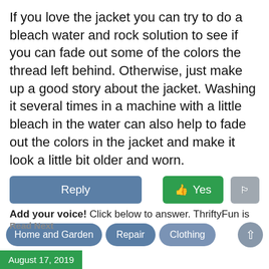If you love the jacket you can try to do a bleach water and rock solution to see if you can fade out some of the colors the thread left behind. Otherwise, just make up a good story about the jacket. Washing it several times in a machine with a little bleach in the water can also help to fade out the colors in the jacket and make it look a little bit older and worn.
Add your voice! Click below to answer. ThriftyFun is powered by your wisdom!
Categories
Read Next
Home and Garden | Repair | Clothing
August 17, 2019